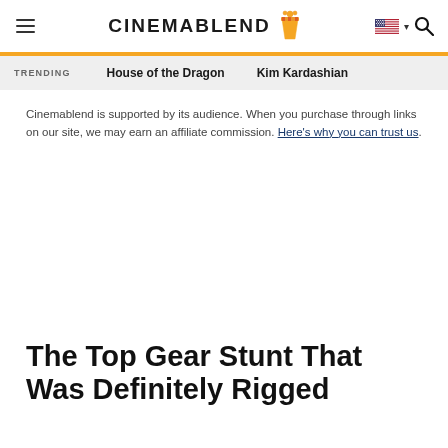CinemaBlend
TRENDING  House of the Dragon  Kim Kardashian
Cinemablend is supported by its audience. When you purchase through links on our site, we may earn an affiliate commission. Here's why you can trust us.
The Top Gear Stunt That Was Definitely Rigged